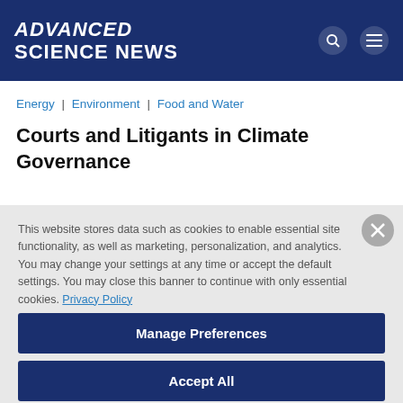ADVANCED SCIENCE NEWS
Energy | Environment | Food and Water
Courts and Litigants in Climate Governance
This website stores data such as cookies to enable essential site functionality, as well as marketing, personalization, and analytics. You may change your settings at any time or accept the default settings. You may close this banner to continue with only essential cookies. Privacy Policy
Manage Preferences
Accept All
Reject All